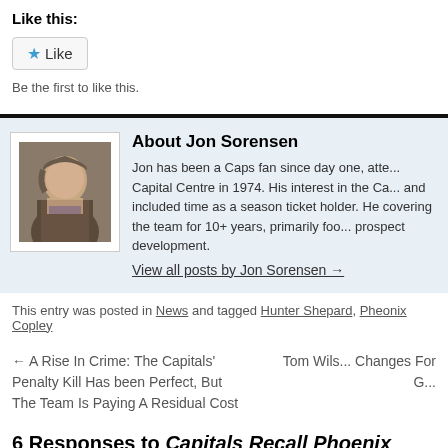Like this:
Like
Be the first to like this.
About Jon Sorensen
Jon has been a Caps fan since day one, attending games at the Capital Centre in 1974. His interest in the Ca... and included time as a season ticket holder. He has been covering the team for 10+ years, primarily foc... prospect development.
View all posts by Jon Sorensen →
This entry was posted in News and tagged Hunter Shepard, Pheonix Copley
← A Rise In Crime: The Capitals' Penalty Kill Has been Perfect, But The Team Is Paying A Residual Cost
Tom Wils... Changes For G...
6 Responses to Capitals Recall Phoenix Co...